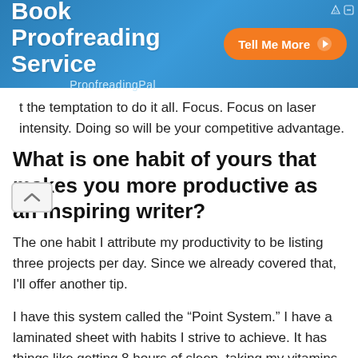[Figure (other): Book Proofreading Service advertisement banner with orange 'Tell Me More' button and ProofreadingPal branding on blue gradient background]
t the temptation to do it all. Focus. Focus on laser intensity. Doing so will be your competitive advantage.
What is one habit of yours that makes you more productive as an inspiring writer?
The one habit I attribute my productivity to be listing three projects per day. Since we already covered that, I'll offer another tip.
I have this system called the “Point System.” I have a laminated sheet with habits I strive to achieve. It has things like getting 8 hours of sleep, taking my vitamins, stretching, etc. I start the morning by adding up my points from the previous day. I then journal a half-page that